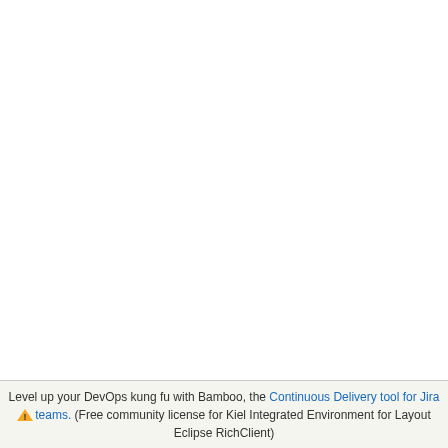[Figure (screenshot): Log output view from a CI/Bamboo build system showing timestamped entries dated 02-Jul-2021 11:18:13 with @kieler/ usernames and paths including vs/edit, vs/loade, ext.e7b0 entries, some with tags like [emitted], [immutab], [dev], [init]]
Level up your DevOps kung fu with Bamboo, the Continuous Delivery tool for Jira teams. (Free community license for Kiel Integrated Environment for Layout Eclipse RichClient)